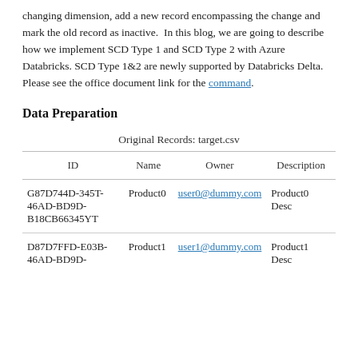changing dimension, add a new record encompassing the change and mark the old record as inactive.  In this blog, we are going to describe how we implement SCD Type 1 and SCD Type 2 with Azure Databricks. SCD Type 1&2 are newly supported by Databricks Delta. Please see the office document link for the command.
Data Preparation
Original Records: target.csv
| ID | Name | Owner | Description |
| --- | --- | --- | --- |
| G87D744D-345T-46AD-BD9D-B18CB66345YT | Product0 | user0@dummy.com | Product0 Desc |
| D87D7FFD-E03B-46AD-BD9D- | Product1 | user1@dummy.com | Product1 Desc |